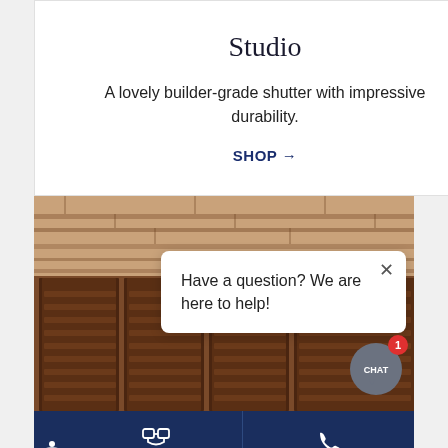Studio
A lovely builder-grade shutter with impressive durability.
SHOP →
[Figure (photo): Photo of dark walnut wood shutters on a sliding door with a stone tile wall backdrop. A chat popup overlay reads: Have a question? We are here to help!]
FREE CONSULTATION | 980-231-1116